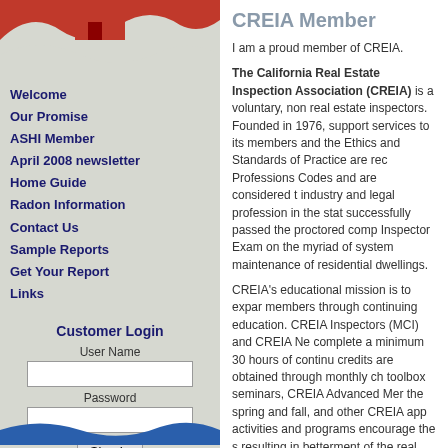[Figure (illustration): Red house/building logo with red and blue wave decorative elements at top and bottom of left navigation panel]
Welcome
Our Promise
ASHI Member
April 2008 newsletter
Home Guide
Radon Information
Contact Us
Sample Reports
Get Your Report
Links
Customer Login
User Name
Password
Sign In
Lost Password?
CREIA Member
I am a proud member of CREIA.
The California Real Estate Inspection Association (CREIA) is a voluntary, non real estate inspectors. Founded in 1976, support services to its members and the Ethics and Standards of Practice are rec Professions Codes and are considered t industry and legal profession in the stat successfully passed the proctored comp Inspector Exam on the myriad of system maintenance of residential dwellings.
CREIA's educational mission is to expar members through continuing education. CREIA Inspectors (MCI) and CREIA Ne complete a minimum 30 hours of continu credits are obtained through monthly ch toolbox seminars, CREIA Advanced Mer the spring and fall, and other CREIA app activities and programs encourage the s resulting in betterment of the real estate which it serves.
Standards of practice https://www.crei
https://www.creia.org